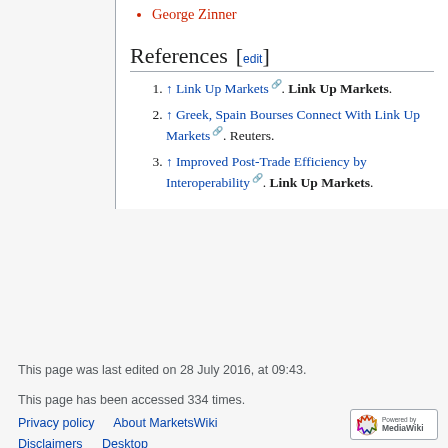George Zinner
References [edit]
↑ Link Up Markets. Link Up Markets.
↑ Greek, Spain Bourses Connect With Link Up Markets. Reuters.
↑ Improved Post-Trade Efficiency by Interoperability. Link Up Markets.
This page was last edited on 28 July 2016, at 09:43.
This page has been accessed 334 times.
Privacy policy   About MarketsWiki   Disclaimers   Desktop